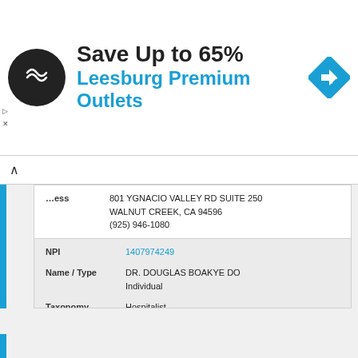[Figure (screenshot): Advertisement banner: black circular logo with arrows symbol, headline 'Save Up to 65%', subline 'Leesburg Premium Outlets', blue diamond navigation icon on right]
| Field | Value |
| --- | --- |
| Address | 801 YGNACIO VALLEY RD SUITE 250
WALNUT CREEK, CA 94596
(925) 946-1080 |
| NPI | 1407974249 |
| Name / Type | DR. DOUGLAS BOAKYE DO
Individual |
| Taxonomy | Hospitalist |
| Address | 801 YGNACIO VALLEY RD SUITE 250
WALNUT CREEK, CA 94596
(925) 946-1080 |